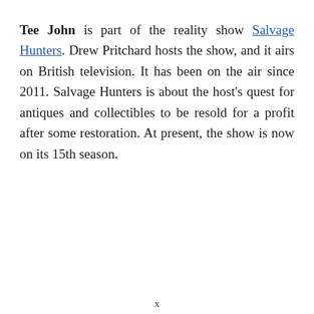Tee John is part of the reality show Salvage Hunters. Drew Pritchard hosts the show, and it airs on British television. It has been on the air since 2011. Salvage Hunters is about the host's quest for antiques and collectibles to be resold for a profit after some restoration. At present, the show is now on its 15th season.
x